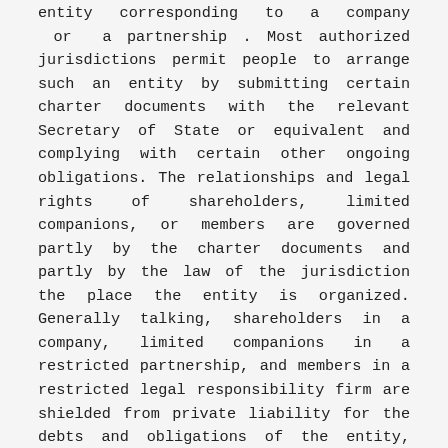entity corresponding to a company or a partnership . Most authorized jurisdictions permit people to arrange such an entity by submitting certain charter documents with the relevant Secretary of State or equivalent and complying with certain other ongoing obligations. The relationships and legal rights of shareholders, limited companions, or members are governed partly by the charter documents and partly by the law of the jurisdiction the place the entity is organized. Generally talking, shareholders in a company, limited companions in a restricted partnership, and members in a restricted legal responsibility firm are shielded from private liability for the debts and obligations of the entity, which is legally treated as a separate “particular person”. This signifies that unless there is misconduct, the proprietor’s own possessions are strongly protected in